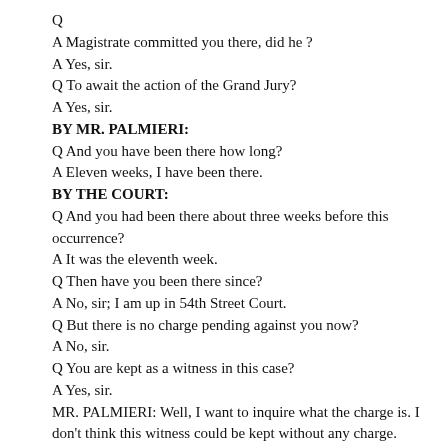Q
A Magistrate committed you there, did he ?
A Yes, sir.
Q To await the action of the Grand Jury?
A Yes, sir.
BY MR. PALMIERI:
Q And you have been there how long?
A Eleven weeks, I have been there.
BY THE COURT:
Q And you had been there about three weeks before this occurrence?
A It was the eleventh week.
Q Then have you been there since?
A No, sir; I am up in 54th Street Court.
Q But there is no charge pending against you now?
A No, sir.
Q You are kept as a witness in this case?
A Yes, sir.
MR. PALMIERI: Well, I want to inquire what the charge is. I don't think this witness could be kept without any charge.
MR. EDWARDS: My recollection is that the charge was dismissed, and he is being held as a witness in this case.
THE COURT: He says he is held as a witness.
MR. PALMIERI: I understand that witnesses, with respect to your Honor's opinion, are kept in the House of